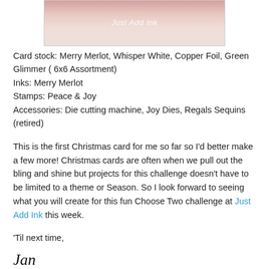[Figure (photo): Partial top view of a craft/card image with 'Just Add Ink' watermark text visible on a light pinkish-beige background]
Card stock: Merry Merlot, Whisper White, Copper Foil, Green Glimmer ( 6x6 Assortment)
Inks: Merry Merlot
Stamps: Peace & Joy
Accessories: Die cutting machine, Joy Dies, Regals Sequins (retired)
This is the first Christmas card for me so far so I'd better make a few more! Christmas cards are often when we pull out the bling and shine but projects for this challenge doesn't have to be limited to a theme or Season. So I look forward to seeing what you will create for this fun Choose Two challenge at Just Add Ink this week.
'Til next time,
Jan